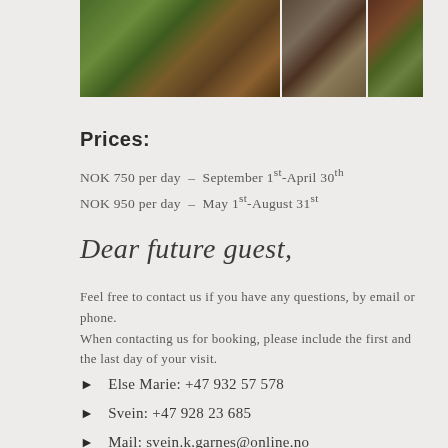[Figure (photo): Three photos of a cabin/lodge: outdoor porch view with green pasture and horses, interior dining/kitchen area, and exterior cabin with wooden structure surrounded by greenery]
Prices:
NOK 750 per day  –  September 1st-April 30th
NOK 950 per day  –  May 1st-August 31st
Dear future guest,
Feel free to contact us if you have any questions, by email or phone.
When contacting us for booking, please include the first and the last day of your visit.
Else Marie: +47 932 57 578
Svein: +47 928 23 685
Mail: svein.k.garnes@online.no